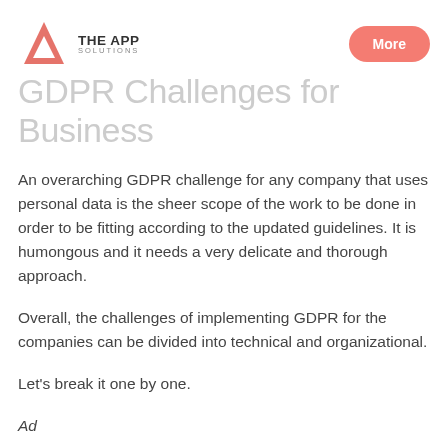THE APP SOLUTIONS | More
GDPR Challenges for Business
An overarching GDPR challenge for any company that uses personal data is the sheer scope of the work to be done in order to be fitting according to the updated guidelines. It is humongous and it needs a very delicate and thorough approach.
Overall, the challenges of implementing GDPR for the companies can be divided into technical and organizational.
Let's break it one by one.
Ad...ti...